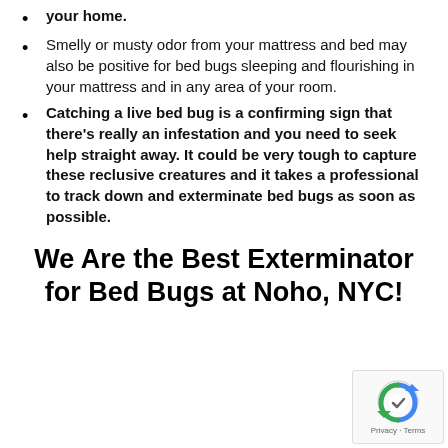your home.
Smelly or musty odor from your mattress and bed may also be positive for bed bugs sleeping and flourishing in your mattress and in any area of your room.
Catching a live bed bug is a confirming sign that there's really an infestation and you need to seek help straight away. It could be very tough to capture these reclusive creatures and it takes a professional to track down and exterminate bed bugs as soon as possible.
We Are the Best Exterminator for Bed Bugs at Noho, NYC!
[Figure (logo): reCAPTCHA logo with Privacy and Terms text]